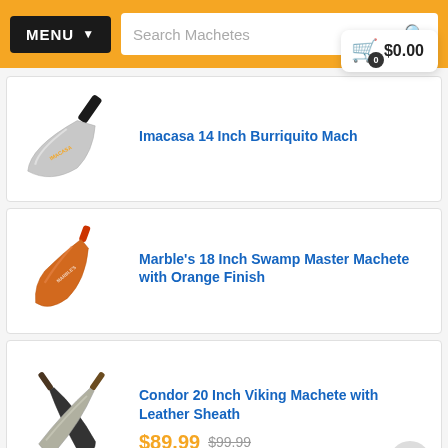MENU | Search Machetes | Cart $0.00
Imacasa 14 Inch Burriquito Mach...
[Figure (illustration): Imacasa 14 Inch Burriquito Machete product image - silver blade with black handle]
Marble's 18 Inch Swamp Master Machete with Orange Finish
[Figure (illustration): Marble's 18 Inch Swamp Master Machete with Orange Finish - orange blade]
Condor 20 Inch Viking Machete with Leather Sheath
[Figure (illustration): Condor 20 Inch Viking Machete with Leather Sheath - two crossed machetes]
$89.99 $99.99
Show all P... M...